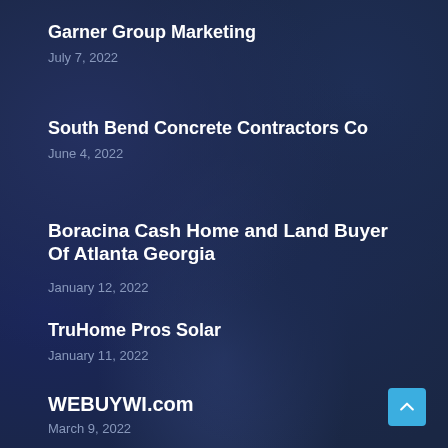Garner Group Marketing
July 7, 2022
South Bend Concrete Contractors Co
June 4, 2022
Boracina Cash Home and Land Buyer Of Atlanta Georgia
January 12, 2022
TruHome Pros Solar
January 11, 2022
WEBUYWI.com
March 9, 2022